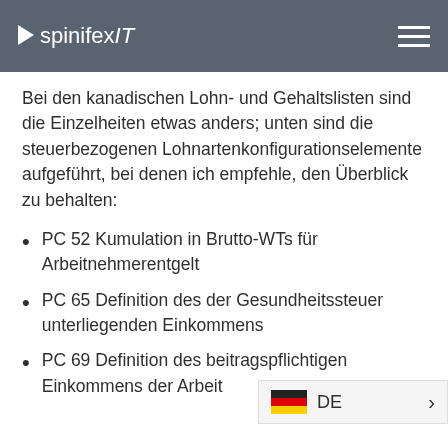spinifexIT
Bei den kanadischen Lohn- und Gehaltslisten sind die Einzelheiten etwas anders; unten sind die steuerbezogenen Lohnartenkonfigurationselemente aufgeführt, bei denen ich empfehle, den Überblick zu behalten:
PC 52 Kumulation in Brutto-WTs für Arbeitnehmerentgelt
PC 65 Definition des der Gesundheitssteuer unterliegenden Einkommens
PC 69 Definition des beitragspflichtigen Einkommens der Arbeit